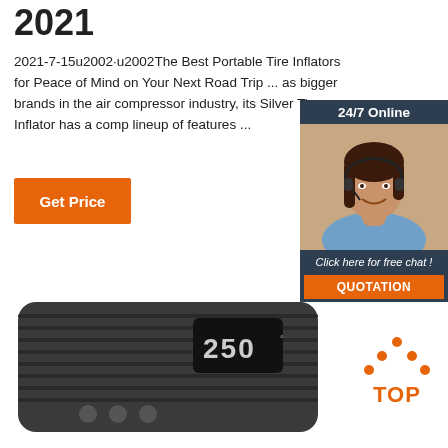2021
2021-7-15u2002·u2002The Best Portable Tire Inflators for Peace of Mind on Your Next Road Trip ... as bigger brands in the air compressor industry, its Silver Tire Inflator has a comp lineup of features ...
Get Price
[Figure (infographic): Customer service chat widget showing '24/7 Online', a photo of a smiling woman with a headset, text 'Click here for free chat!' and an orange QUOTATION button]
[Figure (photo): Dark grey portable tire inflator device with digital display showing '250' and control buttons]
[Figure (logo): TOP badge logo with orange dots forming a triangle above the word TOP in orange letters]